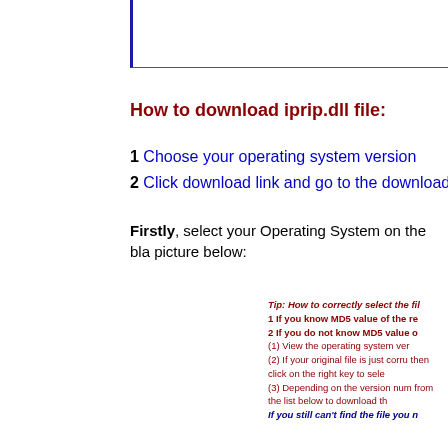How to download iprip.dll file:
1 Choose your operating system version
2 Click download link and go to the download
Firstly, select your Operating System on the bla picture below:
Tip: How to correctly select the fil
1 If you know MD5 value of the re
2 If you do not know MD5 value o
(1) View the operating system ver
(2) If your original file is just corr then click on the right key to sele
(3) Depending on the version num from the list below to download th
If you still can't find the file you n